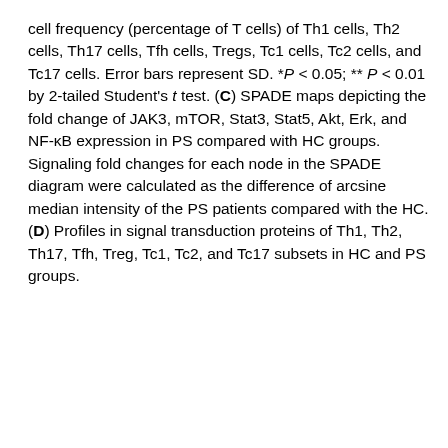cell frequency (percentage of T cells) of Th1 cells, Th2 cells, Th17 cells, Tfh cells, Tregs, Tc1 cells, Tc2 cells, and Tc17 cells. Error bars represent SD. *P < 0.05; ** P < 0.01 by 2-tailed Student's t test. (C) SPADE maps depicting the fold change of JAK3, mTOR, Stat3, Stat5, Akt, Erk, and NF-κB expression in PS compared with HC groups. Signaling fold changes for each node in the SPADE diagram were calculated as the difference of arcsine median intensity of the PS patients compared with the HC. (D) Profiles in signal transduction proteins of Th1, Th2, Th17, Tfh, Treg, Tc1, Tc2, and Tc17 subsets in HC and PS groups.